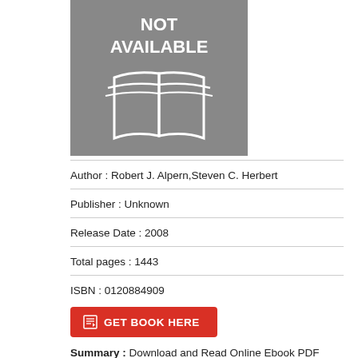[Figure (illustration): Gray book cover placeholder with 'NOT AVAILABLE' text and open book icon in white]
Author : Robert J. Alpern,Steven C. Herbert
Publisher : Unknown
Release Date : 2008
Total pages : 1443
ISBN : 0120884909
GET BOOK HERE
Summary : Download and Read Online Ebook PDF Epub